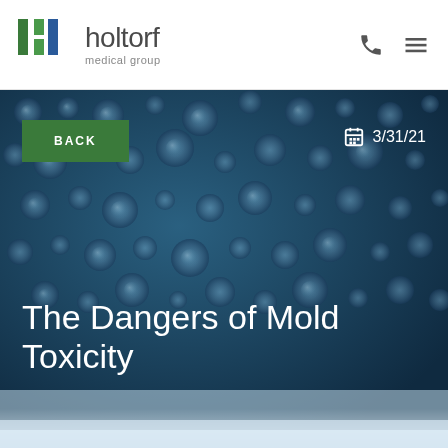[Figure (logo): Holtorf Medical Group logo with green and blue H-shape icon and text]
holtorf medical group
[Figure (photo): Dark blue macro photo of water droplets on glass surface forming hero banner background]
BACK
3/31/21
The Dangers of Mold Toxicity